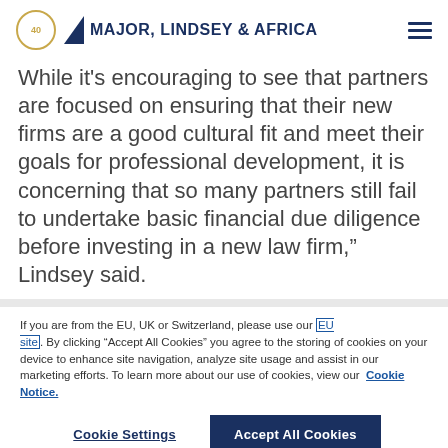Major, Lindsey & Africa
While it's encouraging to see that partners are focused on ensuring that their new firms are a good cultural fit and meet their goals for professional development, it is concerning that so many partners still fail to undertake basic financial due diligence before investing in a new law firm," Lindsey said.
If you are from the EU, UK or Switzerland, please use our EU site. By clicking “Accept All Cookies” you agree to the storing of cookies on your device to enhance site navigation, analyze site usage and assist in our marketing efforts. To learn more about our use of cookies, view our Cookie Notice.
Cookie Settings | Accept All Cookies